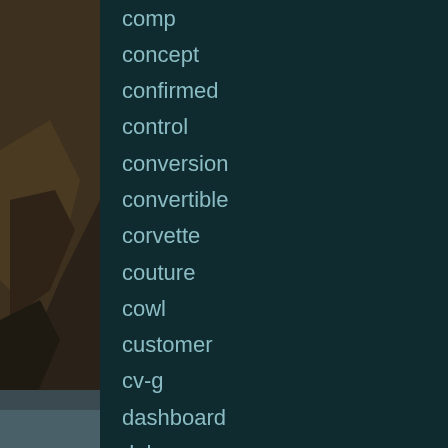[Figure (photo): Rocky coastal cliff on the left side with ocean waves in the background, muted bluish-gray tones]
comp
concept
confirmed
control
conversion
convertible
corvette
couture
cowl
customer
cv-g
dashboard
delco
delphi
depth
design
dislikes
drag
dritech